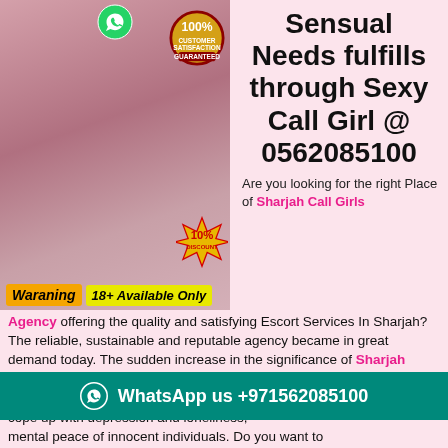[Figure (photo): Young woman in crop top and white shorts posing; 100% Guaranteed badge and 10% Discount starburst overlaid; WhatsApp icon at top; Warning and 18+ Available Only labels at bottom]
Sensual Needs fulfills through Sexy Call Girl @ 0562085100
Are you looking for the right Place of Sharjah Call Girls Agency offering the quality and satisfying Escort Services In Sharjah? The reliable, sustainable and reputable agency became in great demand today. The sudden increase in the significance of Sharjah Escort Services led to the increasing demand. So far we have seen many people have lost their precious lives just because they couldn't cope up with depression and loneliness, mental peace of innocent individuals. Do you want to
WhatsApp us +971562085100